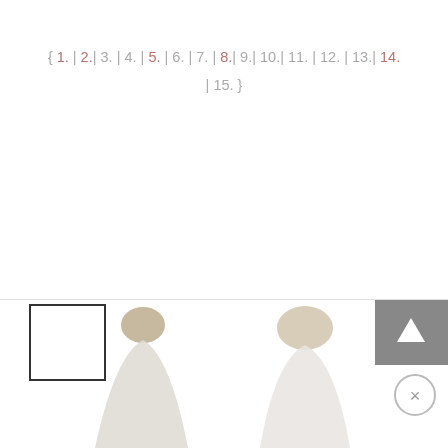{ 1. | 2. | 3. | 4. | 5. | 6. | 7. | 8. | 9. | 10. | 11. | 12. | 13. | 14. | 15. }
[Figure (photo): Bottom portion of a webpage showing thumbnail images of figures/people in white robes or coverings, with a scroll-up button (gray box with up arrow) and a close button (circle with X) overlaid on the right side.]